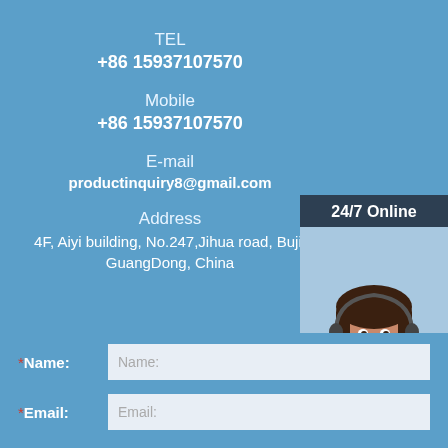TEL
+86 15937107570
Mobile
+86 15937107570
E-mail
productinquiry8@gmail.com
Address
4F, Aiyi building, No.247,Jihua road, Buji, GuangDong, China
[Figure (photo): 24/7 Online customer service widget with a photo of a woman wearing a headset, and a 'Click here for free chat!' call-to-action with an orange QUOTATION button]
*Name:
*Email: